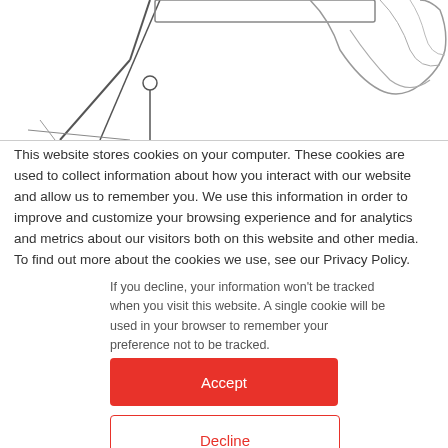[Figure (illustration): Line drawing illustration showing engineering or mechanical tools/hands, cropped at top of page]
This website stores cookies on your computer. These cookies are used to collect information about how you interact with our website and allow us to remember you. We use this information in order to improve and customize your browsing experience and for analytics and metrics about our visitors both on this website and other media. To find out more about the cookies we use, see our Privacy Policy.
If you decline, your information won't be tracked when you visit this website. A single cookie will be used in your browser to remember your preference not to be tracked.
Accept
Decline